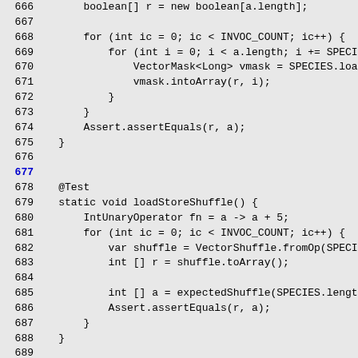[Figure (screenshot): Source code listing in monospace font showing Java code lines 666-695, including a for loop with VectorMask operations, an assertEquals assertion, a loadStoreShuffle static method with IntUnaryOperator, VectorShuffle, and expectedShuffle calls, and a comment about Gather/Scatter load/store tests. Line 677 is highlighted in blue.]